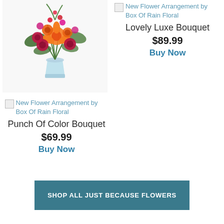[Figure (photo): Colorful flower arrangement in a clear glass vase with orange lilies, red and orange roses, magenta flowers, and lush green foliage.]
[Figure (photo): Broken image placeholder icon for New Flower Arrangement by Box Of Rain Floral (right column)]
New Flower Arrangement by Box Of Rain Floral
Lovely Luxe Bouquet
$89.99
Buy Now
[Figure (photo): Broken image placeholder icon for New Flower Arrangement by Box Of Rain Floral (left column bottom)]
New Flower Arrangement by Box Of Rain Floral
Punch Of Color Bouquet
$69.99
Buy Now
SHOP ALL JUST BECAUSE FLOWERS